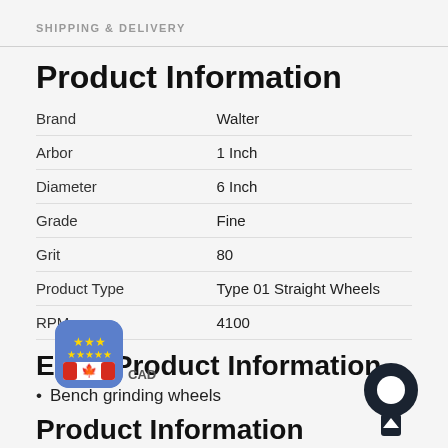SHIPPING & DELIVERY
Product Information
| Attribute | Value |
| --- | --- |
| Brand | Walter |
| Arbor | 1 Inch |
| Diameter | 6 Inch |
| Grade | Fine |
| Grit | 80 |
| Product Type | Type 01 Straight Wheels |
| RPM | 4100 |
Extra Product Information
Bench grinding wheels
Product Information